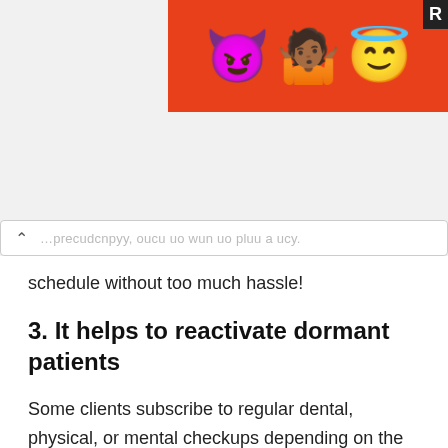[Figure (photo): Advertisement banner with emoji characters (devil, person shrugging, halo smiley) on an orange-red background, with a dark label 'R' in top-right corner]
...schedule without too much hassle!
3. It helps to reactivate dormant patients
Some clients subscribe to regular dental, physical, or mental checkups depending on the kind of specialist they are seeing. They, however, for one reason or another fall out of the plan. Reminders help them commit to the ...